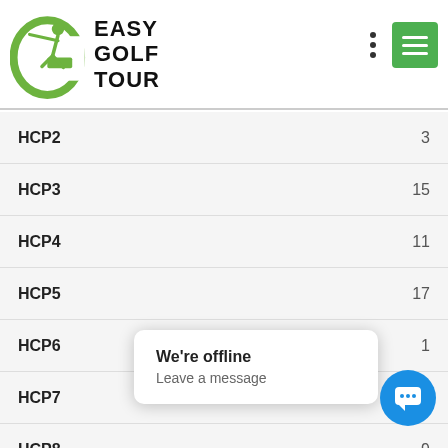Easy Golf Tour
HCP2  3
HCP3  15
HCP4  11
HCP5  17
HCP6  1
HCP7  7
HCP8  9
HCP9  13
HCPTOTAL
HCP10
HCP11
HCP12  10
We're offline
Leave a message